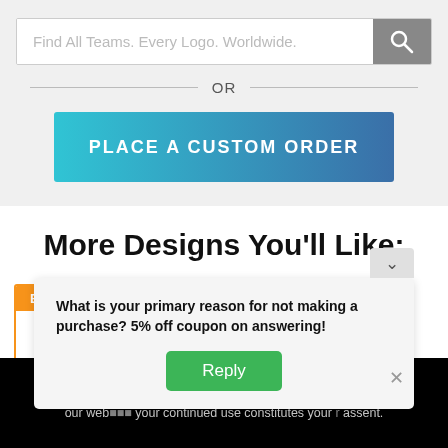Find All Teams. Every Logo. Worldwide.
OR
PLACE A CUSTOM ORDER
More Designs You'll Like:
[Figure (other): Product card with orange border, 'Embroidery' badge, and star decoration]
We use cookies to improve your experience on our web... assent.
What is your primary reason for not making a purchase? 5% off coupon on answering!
Reply